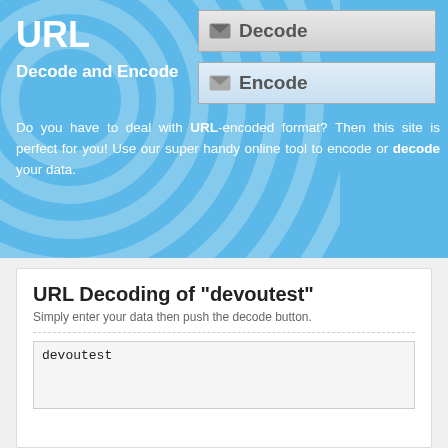URL
Decode and Encode
[Figure (screenshot): Decode button with envelope icon]
[Figure (screenshot): Encode button with envelope icon]
Do you have to deal with URL-encoded format? Then this site is perfect for you! Use our super handy online tool to encode or decode your data.
URL Decoding of "devoutest"
Simply enter your data then push the decode button.
devoutest